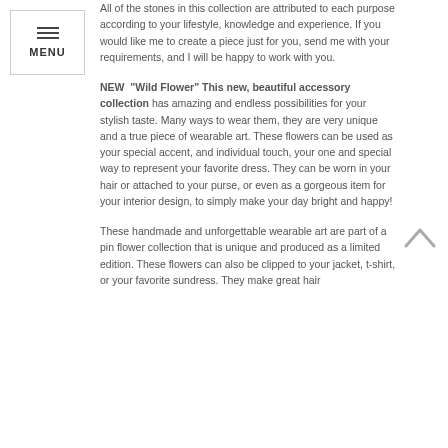All of the stones in this collection are attributed to each purpose according to your lifestyle, knowledge and experience. If you would like me to create a piece just for you, send me with your requirements, and I will be happy to work with you.
NEW “Wild Flower” This new, beautiful accessory collection has amazing and endless possibilities for your stylish taste. Many ways to wear them, they are very unique and a true piece of wearable art. These flowers can be used as your special accent, and individual touch, your one and special way to represent your favorite dress. They can be worn in your hair or attached to your purse, or even as a gorgeous item for your interior design, to simply make your day bright and happy!
These handmade and unforgettable wearable art are part of a pin flower collection that is unique and produced as a limited edition. These flowers can also be clipped to your jacket, t-shirt, or your favorite sundress. They make great hair